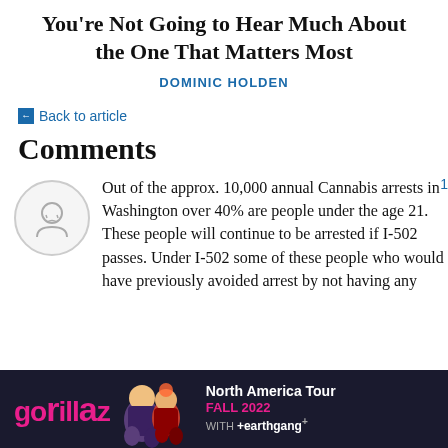You're Not Going to Hear Much About the One That Matters Most
DOMINIC HOLDEN
← Back to article
Comments
Out of the approx. 10,000 annual Cannabis arrests in Washington over 40% are people under the age 21. These people will continue to be arrested if I-502 passes. Under I-502 some of these people who would have previously avoided arrest by not having any
[Figure (other): Gorillaz North America Tour Fall 2022 with +earthgang advertisement banner]